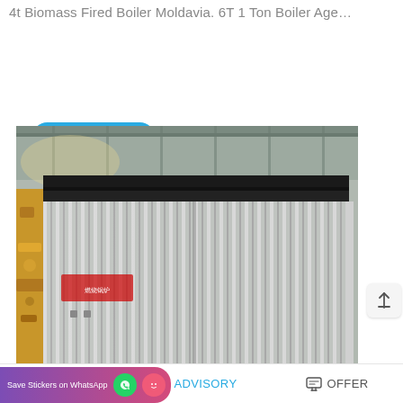4t Biomass Fired Boiler Moldavia. 6T 1 Ton Boiler Age…
READ MORE
[Figure (photo): Large industrial biomass fired boiler with corrugated metal cladding in a factory/warehouse setting. The boiler has silver corrugated sheet metal panels with yellow pipes visible on the left side.]
Save Stickers on WhatsApp
Plant
MAIL
ADVISORY
OFFER